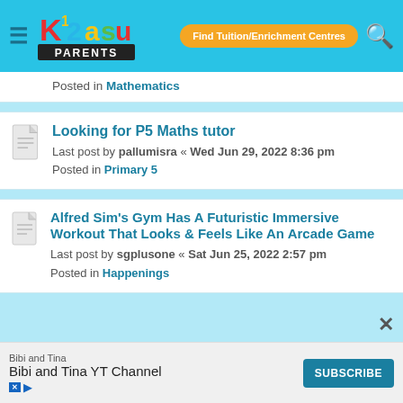K12 Parents — Find Tuition/Enrichment Centres
Posted in Mathematics
Looking for P5 Maths tutor
Last post by pallumisra « Wed Jun 29, 2022 8:36 pm
Posted in Primary 5
Alfred Sim's Gym Has A Futuristic Immersive Workout That Looks & Feels Like An Arcade Game
Last post by sgplusone « Sat Jun 25, 2022 2:57 pm
Posted in Happenings
[Figure (screenshot): Advertisement bar: Bibi and Tina YT Channel with Subscribe button]